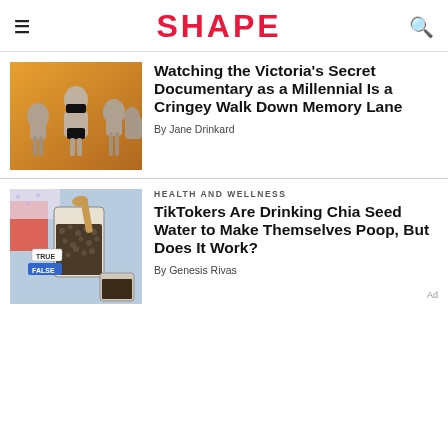SHAPE
[Figure (photo): Mannequin torsos displayed on an orange gradient background, one wearing a black bikini]
Watching the Victoria's Secret Documentary as a Millennial Is a Cringey Walk Down Memory Lane
By Jane Drinkard
HEALTH AND WELLNESS
[Figure (photo): Chia seeds in a glass jar with a wooden spoon, on a blue/lavender background with TRUE/FALSE labels]
TikTokers Are Drinking Chia Seed Water to Make Themselves Poop, But Does It Work?
By Genesis Rivas